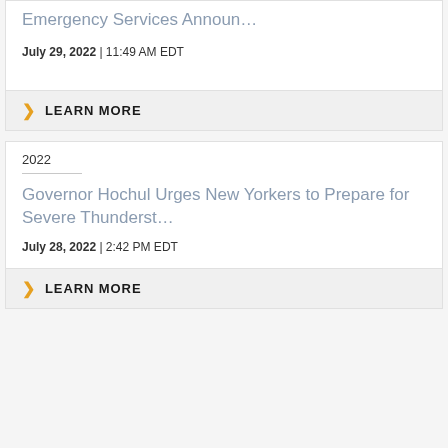Emergency Services Announ…
July 29, 2022 | 11:49 AM EDT
LEARN MORE
2022
Governor Hochul Urges New Yorkers to Prepare for Severe Thunderst…
July 28, 2022 | 2:42 PM EDT
LEARN MORE